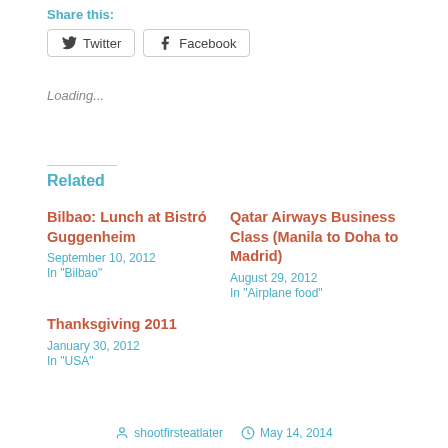Share this:
Twitter   Facebook
Loading...
Related
Bilbao: Lunch at Bistró Guggenheim
September 10, 2012
In "Bilbao"
Qatar Airways Business Class (Manila to Doha to Madrid)
August 29, 2012
In "Airplane food"
Thanksgiving 2011
January 30, 2012
In "USA"
shootfirsteatlater   May 14, 2014